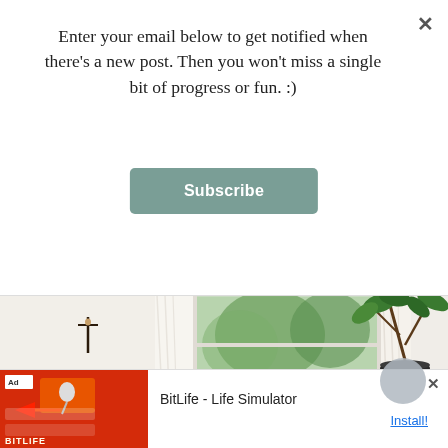Enter your email below to get notified when there's a new post. Then you won't miss a single bit of progress or fun. :)
Subscribe
[Figure (photo): A bright white bedroom corner with white sheer curtains framing a window with green trees outside, a large leafy plant in a white pot, a wicker basket on the floor, a white chair, and a crucifix hanging on the white wall.]
The Best Painting Tools, Say Us
[Figure (screenshot): Advertisement banner for BitLife - Life Simulator mobile app, showing a red background with game graphics on the left and the app name and Install button on the right.]